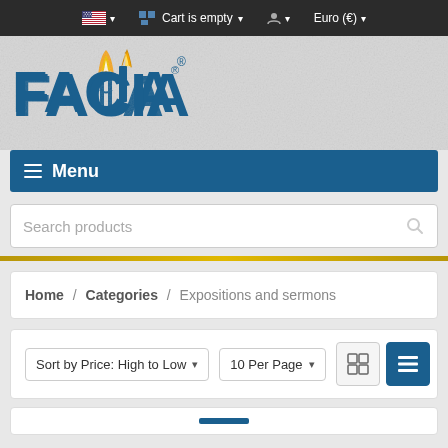🇺🇸 ▾  Cart is empty ▾  👤 ▾  Euro (€) ▾
[Figure (logo): FACLIA logo with flame torch above the letter I]
≡ Menu
Search products
Home / Categories / Expositions and sermons
Sort by Price: High to Low ▾   10 Per Page ▾